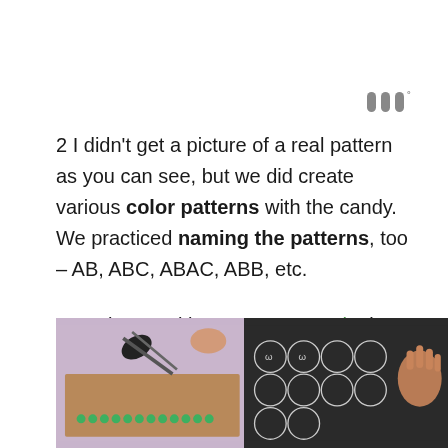[Figure (logo): Small logo mark resembling three vertical bars with a superscript degree symbol]
2 I didn't get a picture of a real pattern as you can see, but we did create various color patterns with the candy. We practiced naming the patterns, too – AB, ABC, ABAC, ABB, etc.
3 We love making concrete graphs in our house! Eli has practiced many times with bar graphs, so this time I made sure to introduce circle graphing.
[Figure (photo): Two side-by-side photos: left shows green candy arranged in a line on pink/brown surface with scissors above; right shows a dark surface with white circle/letter outlines drawn on it and a hand touching it]